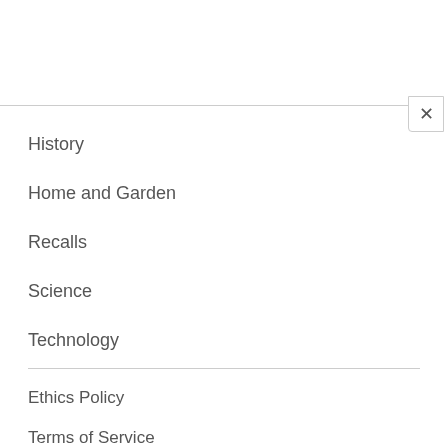History
Home and Garden
Recalls
Science
Technology
Ethics Policy
Terms of Service
Digital Publishing Guidelines